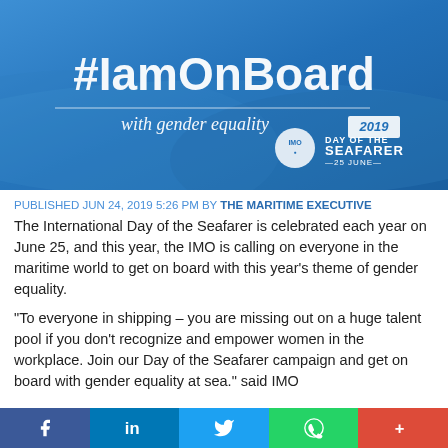[Figure (illustration): #IamOnBoard with gender equality 2019 — Day of the Seafarer 25 June campaign banner with blue gradient background]
PUBLISHED JUN 24, 2019 5:26 PM BY THE MARITIME EXECUTIVE
The International Day of the Seafarer is celebrated each year on June 25, and this year, the IMO is calling on everyone in the maritime world to get on board with this year's theme of gender equality.
"To everyone in shipping – you are missing out on a huge talent pool if you don't recognize and empower women in the workplace. Join our Day of the Seafarer campaign and get on board with gender equality at sea." said IMO